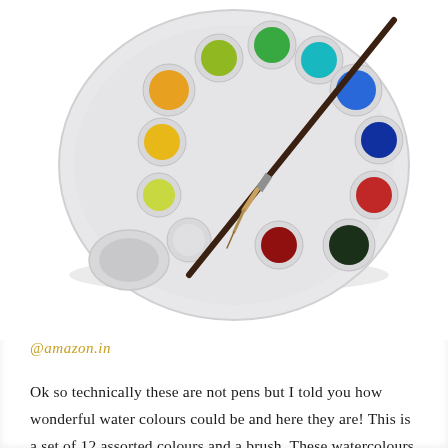[Figure (photo): A white plastic artist's paint palette with 12 assorted colour wells (orange, yellow-green, green, teal/blue, dark blue, dark red/maroon, dark green/black, red, white/empty wells) and a fine-tipped paintbrush resting across it, photographed on a white background.]
@amazon.in
Ok so technically these are not pens but I told you how wonderful water colours could be and here they are! This is a set of 12 assorted colours and a brush. These watercolours are perfect for any embellishments or themes you will be painting within your bullet journal and offer a lovely range of bright colours. Available